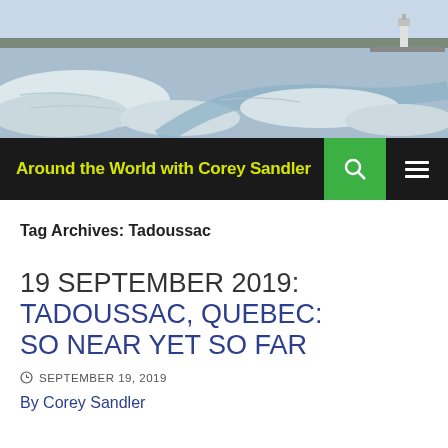[Figure (photo): Winter aerial photo of a frozen waterway or bay with ice floes, a lighthouse visible in the upper right, and a town/shoreline in the background.]
Around the World with Corey Sandler
Tag Archives: Tadoussac
19 SEPTEMBER 2019: TADOUSSAC, QUEBEC: SO NEAR YET SO FAR
SEPTEMBER 19, 2019
By Corey Sandler